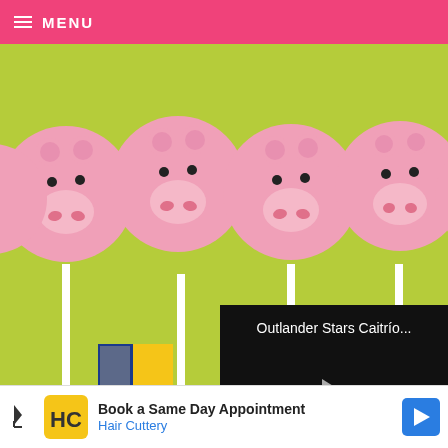≡ MENU
[Figure (photo): Photo of pig-shaped cake pops on sticks in front of a green background with Toy Story 3 movie poster tags. Five pink pig cake pops with snouts and ears visible at top.]
[Figure (screenshot): Video player overlay showing 'Outlander Stars Caitrío...' title with a play button triangle on black background.]
Okay, so I took the e... poster tags to carry out the theme. No cowboys or
[Figure (infographic): Advertisement for Hair Cuttery: 'Book a Same Day Appointment' with HC logo and navigation arrow. Also shows a play/close icon on the left.]